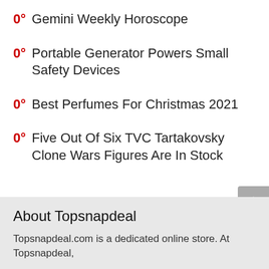0° Gemini Weekly Horoscope
0° Portable Generator Powers Small Safety Devices
0° Best Perfumes For Christmas 2021
0° Five Out Of Six TVC Tartakovsky Clone Wars Figures Are In Stock
About Topsnapdeal
Topsnapdeal.com is a dedicated online store. At Topsnapdeal,